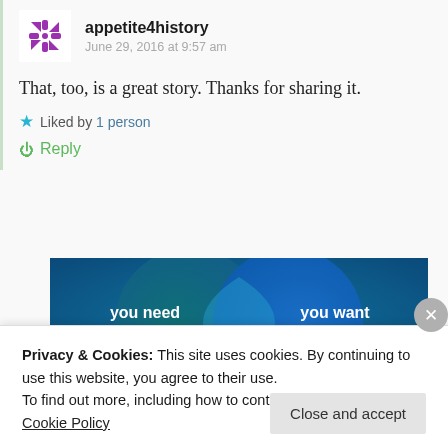appetite4history
June 29, 2016 at 9:57 am
That, too, is a great story. Thanks for sharing it.
Liked by 1 person
Reply
[Figure (illustration): Venn diagram with two overlapping circles on a teal/blue gradient background. Left circle labeled 'you need', right circle labeled 'you want'.]
Privacy & Cookies: This site uses cookies. By continuing to use this website, you agree to their use.
To find out more, including how to control cookies, see here: Cookie Policy
Close and accept